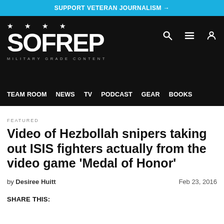SUPPORT VETERAN JOURNALISM →
[Figure (logo): SOFREP logo with stars and 'MILITARY GRADE CONTENT' tagline on black background, with navigation icons and menu links: TEAM ROOM, NEWS, TV, PODCAST, GEAR, BOOKS]
FEATURED
Video of Hezbollah snipers taking out ISIS fighters actually from the video game 'Medal of Honor'
by Desiree Huitt   Feb 23, 2016
SHARE THIS: